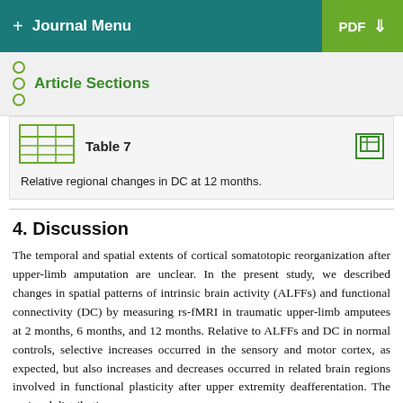+ Journal Menu  PDF ↓
Article Sections
Table 7
Relative regional changes in DC at 12 months.
4. Discussion
The temporal and spatial extents of cortical somatotopic reorganization after upper-limb amputation are unclear. In the present study, we described changes in spatial patterns of intrinsic brain activity (ALFFs) and functional connectivity (DC) by measuring rs-fMRI in traumatic upper-limb amputees at 2 months, 6 months, and 12 months. Relative to ALFFs and DC in normal controls, selective increases occurred in the sensory and motor cortex, as expected, but also increases and decreases occurred in related brain regions involved in functional plasticity after upper extremity deafferentation. The regional distribution